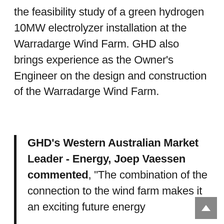the feasibility study of a green hydrogen 10MW electrolyzer installation at the Warradarge Wind Farm. GHD also brings experience as the Owner's Engineer on the design and construction of the Warradarge Wind Farm.
GHD's Western Australian Market Leader - Energy, Joep Vaessen commented, "The combination of the connection to the wind farm makes it an exciting future energy"